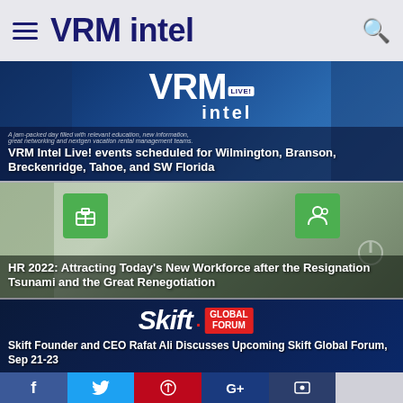VRM intel
[Figure (screenshot): VRM Intel Live! logo on dark blue background with italic subtitle text]
VRM Intel Live! events scheduled for Wilmington, Branson, Breckenridge, Tahoe, and SW Florida
[Figure (photo): HR-themed image with green gift and people icons on blurred background]
HR 2022: Attracting Today's New Workforce after the Resignation Tsunami and the Great Renegotiation
[Figure (logo): Skift Global Forum logo on dark navy background]
Skift Founder and CEO Rafat Ali Discusses Upcoming Skift Global Forum, Sep 21-23